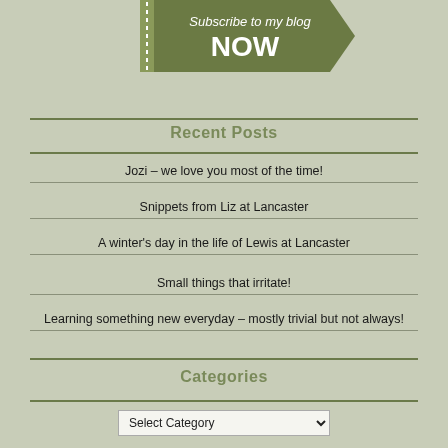[Figure (illustration): Green arrow-shaped banner with dotted left border reading 'Subscribe to my blog NOW']
Recent Posts
Jozi – we love you most of the time!
Snippets from Liz at Lancaster
A winter's day in the life of Lewis at Lancaster
Small things that irritate!
Learning something new everyday – mostly trivial but not always!
Categories